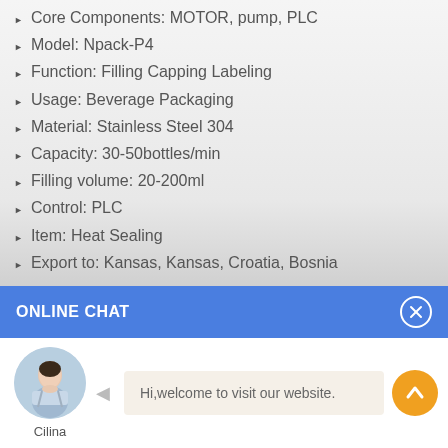Core Components: MOTOR, pump, PLC
Model: Npack-P4
Function: Filling Capping Labeling
Usage: Beverage Packaging
Material: Stainless Steel 304
Capacity: 30-50bottles/min
Filling volume: 20-200ml
Control: PLC
Item: Heat Sealing
Export to: Kansas, Kansas, Croatia, Bosnia
[Figure (illustration): Online chat widget with blue header bar labeled ONLINE CHAT with close button, avatar photo of woman named Cilina, chat bubble saying Hi,welcome to visit our website., and orange scroll-to-top button]